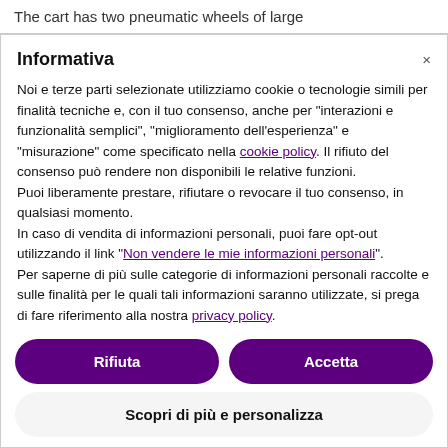The cart has two pneumatic wheels of large
Informativa
Noi e terze parti selezionate utilizziamo cookie o tecnologie simili per finalità tecniche e, con il tuo consenso, anche per "interazioni e funzionalità semplici", "miglioramento dell'esperienza" e "misurazione" come specificato nella cookie policy. Il rifiuto del consenso può rendere non disponibili le relative funzioni. Puoi liberamente prestare, rifiutare o revocare il tuo consenso, in qualsiasi momento. In caso di vendita di informazioni personali, puoi fare opt-out utilizzando il link "Non vendere le mie informazioni personali". Per saperne di più sulle categorie di informazioni personali raccolte e sulle finalità per le quali tali informazioni saranno utilizzate, si prega di fare riferimento alla nostra privacy policy. Puoi acconsentire all'utilizzo di tali tecnologie utilizzando il pulsante "Accetta". Chiudendo questa informativa, continui senza accettare.
Rifiuta
Accetta
Scopri di più e personalizza